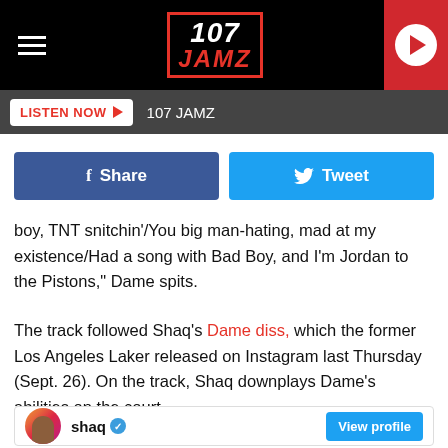107 JAMZ
LISTEN NOW  107 JAMZ
[Figure (other): Facebook Share button and Twitter Tweet button]
boy, TNT snitchin'/You big man-hating, mad at my existence/Had a song with Bad Boy, and I'm Jordan to the Pistons," Dame spits.
The track followed Shaq's Dame diss, which the former Los Angeles Laker released on Instagram last Thursday (Sept. 26). On the track, Shaq downplays Dame's abilities on the court.
[Figure (screenshot): Instagram embed preview showing shaq account with View profile button]